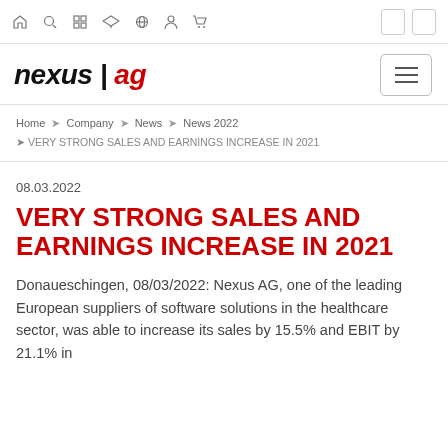nexus | ag [navigation bar with icons: home, search, grid, graduation-cap, globe, person, cart]
[Figure (logo): nexus | ag company logo in black italic bold text with 'ag' in red]
Home → Company → News → News 2022 → VERY STRONG SALES AND EARNINGS INCREASE IN 2021
08.03.2022
VERY STRONG SALES AND EARNINGS INCREASE IN 2021
Donaueschingen, 08/03/2022: Nexus AG, one of the leading European suppliers of software solutions in the healthcare sector, was able to increase its sales by 15.5% and EBIT by 21.1% in